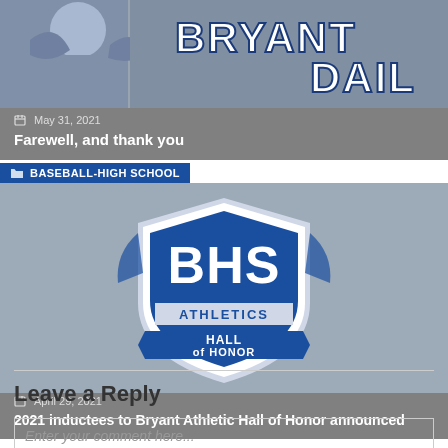[Figure (photo): Bryant Daily newspaper mascot logo and header banner with blue and white styling]
May 31, 2021
Farewell, and thank you
BASEBALL-HIGH SCHOOL
[Figure (logo): BHS Athletics Hall of Honor shield logo with blue and white colors]
April 29, 2021
2021 inductees to Bryant Athletic Hall of Honor announced
Leave a Reply
Enter your comment here...